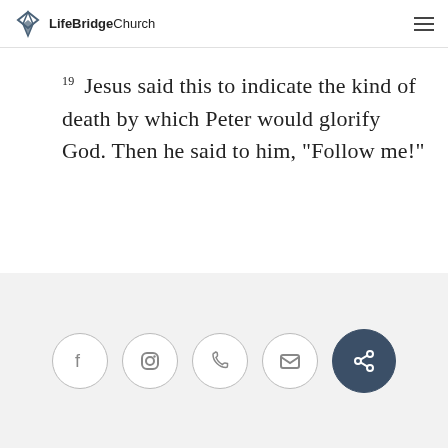LifeBridge Church
19 Jesus said this to indicate the kind of death by which Peter would glorify God. Then he said to him, “Follow me!”
Social icons: Facebook, Instagram, Phone, Email, Share